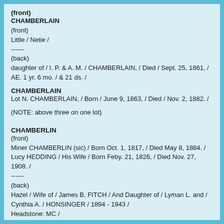CHAMBERLAIN
(front)
Little / Netie /
------
(back)
daughter of / I. P. & A. M. / CHAMBERLAIN, / Died / Sept. 25, 1861, / AE. 1 yr. 6 mo. / & 21 ds. /
CHAMBERLAIN
Lot N. CHAMBERLAIN, / Born / June 9, 1863, / Died / Nov. 2, 1882. /
(NOTE: above three on one lot)
CHAMBERLIN
(front)
Miner CHAMBERLIN (sic) / Born Oct. 1, 1817, / Died May 8, 1884. /
Lucy HEDDING / His Wife / Born Feby. 21, 1826, / Died Nov. 27, 1908. /
------
(back)
Hazel / Wife of / James B. FITCH / And Daughter of / Lyman L. and / Cynthia A. / HONSINGER / 1894 - 1943 /
Headstone: MC /
Headstone: LH /
Headstone: Hazel FITCH /